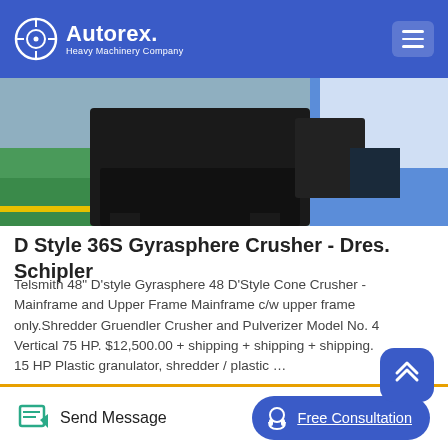Autorex Heavy Machinery Company
[Figure (photo): Heavy machinery / crusher equipment in industrial setting, dark metal machine on floor]
D Style 36S Gyrasphere Crusher - Dres. Schipler
Telsmith 48" D'style Gyrasphere 48 D'Style Cone Crusher - Mainframe and Upper Frame Mainframe c/w upper frame only.Shredder Gruendler Crusher and Pulverizer Model No. 48 Vertical 75 HP. $12,500.00 + shipping + shipping + shipping. 15 HP Plastic granulator, shredder / plastic …
[Figure (photo): Industrial factory interior with overhead cranes and steel structure]
Send Message | Free Consultation